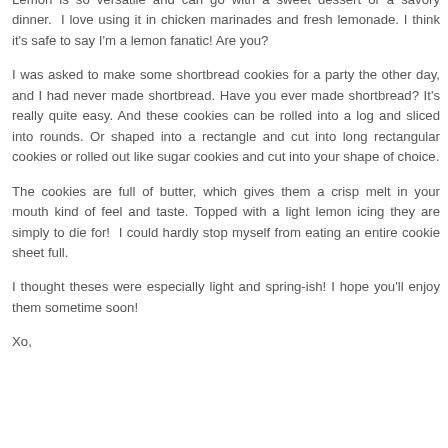Lemon is so versatile and can go with a sweet dessert or a savory dinner.  I love using it in chicken marinades and fresh lemonade. I think it's safe to say I'm a lemon fanatic! Are you?
I was asked to make some shortbread cookies for a party the other day, and I had never made shortbread. Have you ever made shortbread? It's really quite easy. And these cookies can be rolled into a log and sliced into rounds. Or shaped into a rectangle and cut into long rectangular cookies or rolled out like sugar cookies and cut into your shape of choice.
The cookies are full of butter, which gives them a crisp melt in your mouth kind of feel and taste. Topped with a light lemon icing they are simply to die for!  I could hardly stop myself from eating an entire cookie sheet full.
I thought theses were especially light and spring-ish! I hope you'll enjoy them sometime soon!
Xo,